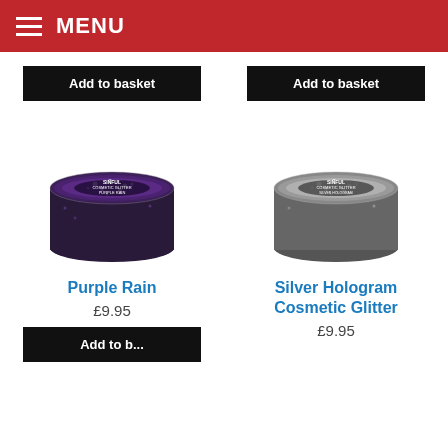MENU
Add to basket
Add to basket
[Figure (photo): Sinful Cosmetic Glitter jar - Purple Rain, dark purple glitter in a round clear lid container]
[Figure (photo): Sinful Cosmetic Glitter jar - Silver Hologram Cosmetic Glitter, silver glitter in a round clear lid container]
Purple Rain
£9.95
Silver Hologram Cosmetic Glitter
£9.95
Add to basket